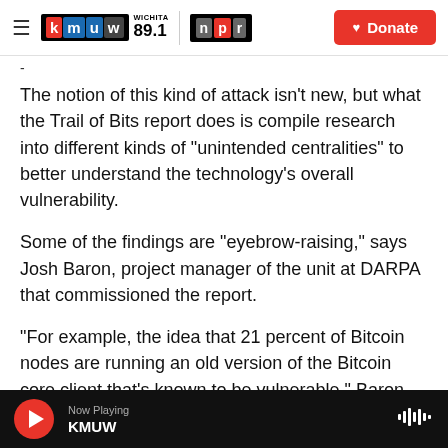KMUW Wichita 89.1 / NPR — Donate
The notion of this kind of attack isn't new, but what the Trail of Bits report does is compile research into different kinds of "unintended centralities" to better understand the technology's overall vulnerability.
Some of the findings are "eyebrow-raising," says Josh Baron, project manager of the unit at DARPA that commissioned the report.
"For example, the idea that 21 percent of Bitcoin nodes are running an old version of the Bitcoin core client that's known to be vulnerable," Baron says,
Now Playing KMUW